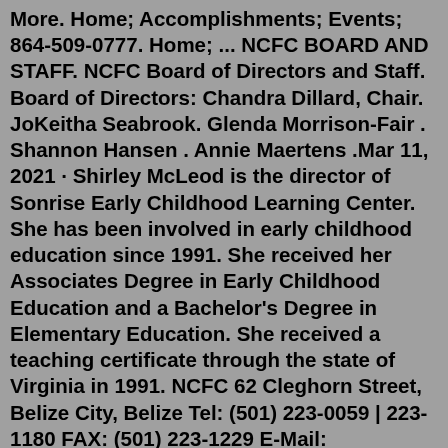More. Home; Accomplishments; Events; 864-509-0777. Home; ... NCFC BOARD AND STAFF. NCFC Board of Directors and Staff. Board of Directors: Chandra Dillard, Chair. JoKeitha Seabrook. Glenda Morrison-Fair . Shannon Hansen . Annie Maertens .Mar 11, 2021 · Shirley McLeod is the director of Sonrise Early Childhood Learning Center. She has been involved in early childhood education since 1991. She received her Associates Degree in Early Childhood Education and a Bachelor's Degree in Elementary Education. She received a teaching certificate through the state of Virginia in 1991. NCFC 62 Cleghorn Street, Belize City, Belize Tel: (501) 223-0059 | 223-1180 FAX: (501) 223-1229 E-Mail: ncfc@btl.net. Recent News. Our Children Need Protecting June ... Welcome to NCFC Nicholtown Child and Family Collaborative 864-509-0777. Home; Accomplishments; Events; More. Home; Accomplishments; Events; 864-509-0777. Home; ... NCFC BOARD AND STAFF. NCFC Board of Directors and Staff. Board of Directors: Chandra